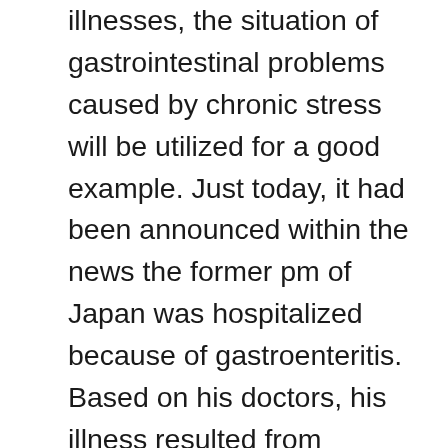illnesses, the situation of gastrointestinal problems caused by chronic stress will be utilized for a good example. Just today, it had been announced within the news the former pm of Japan was hospitalized because of gastroenteritis. Based on his doctors, his illness resulted from extreme stress and exhaustion. Gastroenteritis is understood to be the soreness from the gastrointestinal tract including the stomach and also the intestines. Whenever a person encounters extreme or chronic stress, immune factors for example cytokines, neurotransmitters for example serotonin, and digestive acids for example protease are created. Cytokines are components that create inflammation in parts of the body with infection, serotonin affects contraction of smooth muscles, and